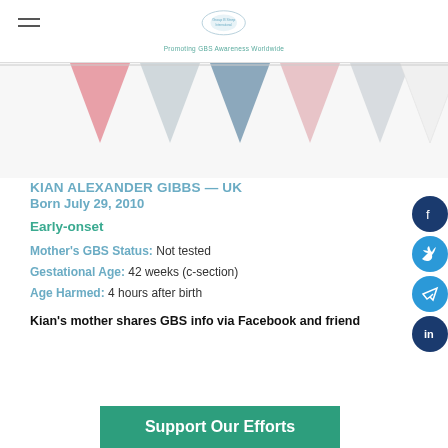Group B Strep International — Promoting GBS Awareness Worldwide
[Figure (illustration): Decorative bunting/pennant flags in pink, grey, blue, light pink, and white colors]
KIAN ALEXANDER GIBBS — UK
Born July 29, 2010
Early-onset
Mother's GBS Status: Not tested
Gestational Age: 42 weeks (c-section)
Age Harmed: 4 hours after birth
Kian's mother shares GBS info via Facebook and friend
[Figure (infographic): Green banner: Support Our Efforts]